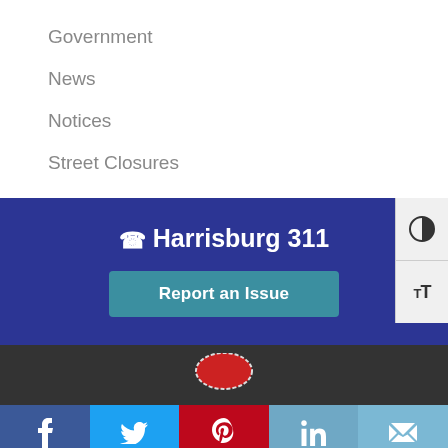Government
News
Notices
Street Closures
Harrisburg 311
Report an Issue
[Figure (other): City seal partially visible at the bottom of dark footer]
Social media share bar with Facebook, Twitter, Pinterest, LinkedIn, and Email icons